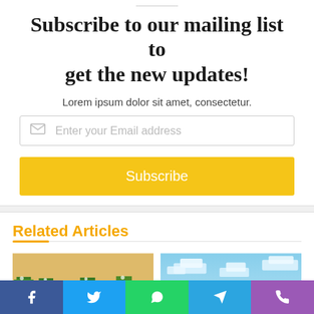Subscribe to our mailing list to get the new updates!
Lorem ipsum dolor sit amet, consectetur.
Enter your Email address
Subscribe
Related Articles
[Figure (photo): Minecraft-style screenshot showing tree stumps and green foliage on sandy ground]
[Figure (photo): Minecraft-style screenshot showing a light blue sky with blocky white clouds and terrain]